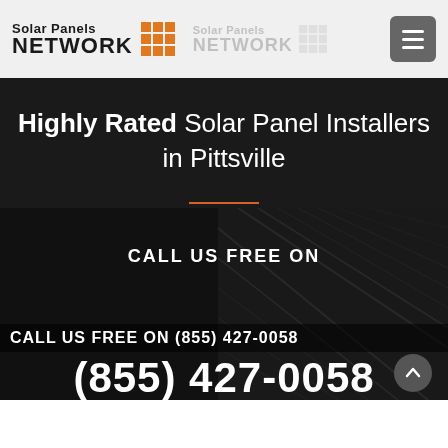[Figure (logo): Solar Panels NETWORK logo with orange grid icon, plus a secondary faded version of the same logo, and a hamburger menu button in the top-right corner]
Highly Rated Solar Panel Installers in Pittsville
CALL US FREE ON
CALL US FREE ON (855) 427-0058
(855) 427-0058